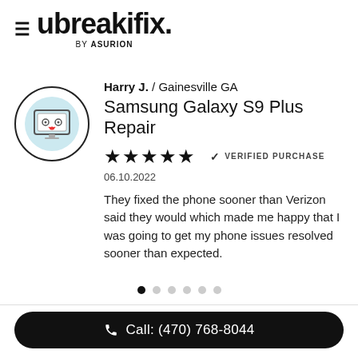[Figure (logo): ubreakifix by Asurion logo with hamburger menu icon on the left]
Harry J. / Gainesville GA
Samsung Galaxy S9 Plus Repair
★★★★★  ✓  VERIFIED PURCHASE
06.10.2022
They fixed the phone sooner than Verizon said they would which made me happy that I was going to get my phone issues resolved sooner than expected.
Call: (470) 768-8044